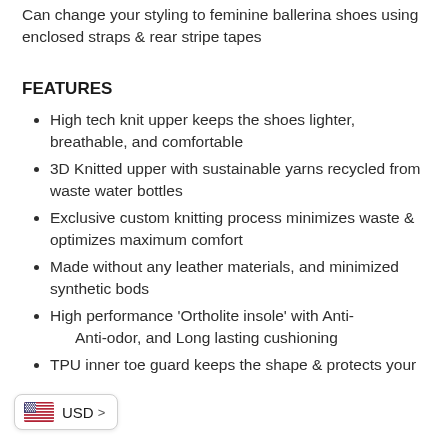Can change your styling to feminine ballerina shoes using enclosed straps & rear stripe tapes
FEATURES
High tech knit upper keeps the shoes lighter, breathable, and comfortable
3D Knitted upper with sustainable yarns recycled from waste water bottles
Exclusive custom knitting process minimizes waste & optimizes maximum comfort
Made without any leather materials, and minimized synthetic bods
High performance 'Ortholite insole' with Anti-[microbial,] Anti-odor, and Long lasting cushioning
TPU inner toe guard keeps the shape & protects your
USD >